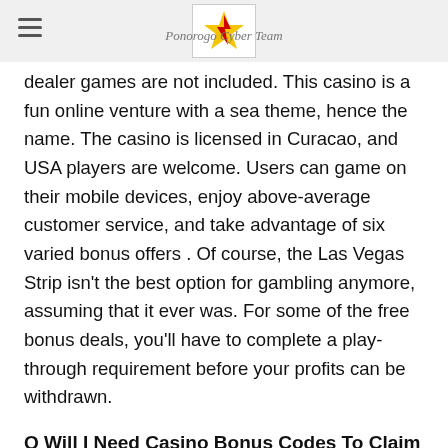Ponorogo Cyber Team
dealer games are not included. This casino is a fun online venture with a sea theme, hence the name. The casino is licensed in Curacao, and USA players are welcome. Users can game on their mobile devices, enjoy above-average customer service, and take advantage of six varied bonus offers . Of course, the Las Vegas Strip isn't the best option for gambling anymore, assuming that it ever was. For some of the free bonus deals, you'll have to complete a play-through requirement before your profits can be withdrawn.
Q Will I Need Casino Bonus Codes To Claim The Bonuses Offered By Online Casinos?
The first is that the stake they are played at is always set at a minimum. The second rule is that free spins no deposit are always played at a maximum of paylines. In